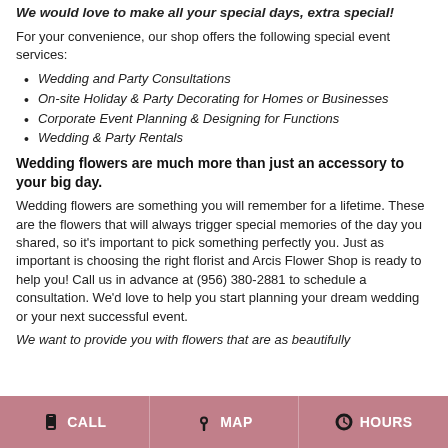We would love to make all your special days, extra special!
For your convenience, our shop offers the following special event services:
Wedding and Party Consultations
On-site Holiday & Party Decorating for Homes or Businesses
Corporate Event Planning & Designing for Functions
Wedding & Party Rentals
Wedding flowers are much more than just an accessory to your big day.
Wedding flowers are something you will remember for a lifetime. These are the flowers that will always trigger special memories of the day you shared, so it's important to pick something perfectly you. Just as important is choosing the right florist and Arcis Flower Shop is ready to help you! Call us in advance at (956) 380-2881 to schedule a consultation. We'd love to help you start planning your dream wedding or your next successful event.
We want to provide you with flowers that are as beautifully
CALL   MAP   HOURS